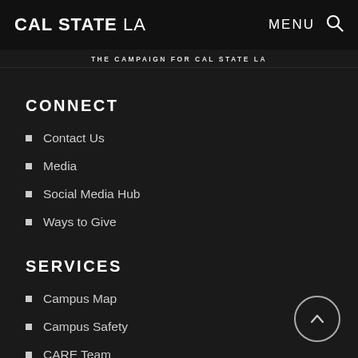CAL STATE LA   MENU 🔍
THE CAMPAIGN FOR CAL STATE LA
CONNECT
Contact Us
Media
Social Media Hub
Ways to Give
SERVICES
Campus Map
Campus Safety
CARE Team